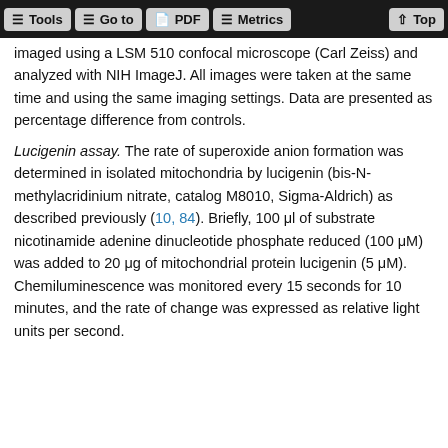Tools | Go to | PDF | Metrics | Top
imaged using a LSM 510 confocal microscope (Carl Zeiss) and analyzed with NIH ImageJ. All images were taken at the same time and using the same imaging settings. Data are presented as percentage difference from controls.
Lucigenin assay. The rate of superoxide anion formation was determined in isolated mitochondria by lucigenin (bis-N-methylacridinium nitrate, catalog M8010, Sigma-Aldrich) as described previously (10, 84). Briefly, 100 μl of substrate nicotinamide adenine dinucleotide phosphate reduced (100 μM) was added to 20 μg of mitochondrial protein lucigenin (5 μM). Chemiluminescence was monitored every 15 seconds for 10 minutes, and the rate of change was expressed as relative light units per second.